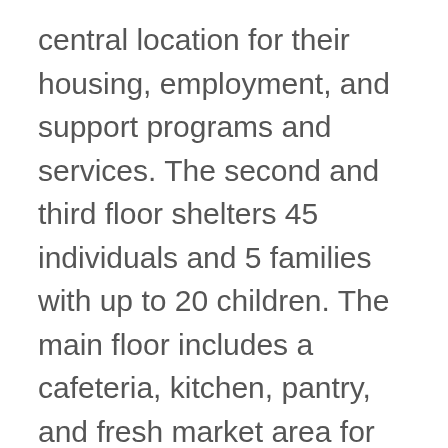central location for their housing, employment, and support programs and services. The second and third floor shelters 45 individuals and 5 families with up to 20 children. The main floor includes a cafeteria, kitchen, pantry, and fresh market area for their food programs. The main floor also includes their employment resource center for employment training programs